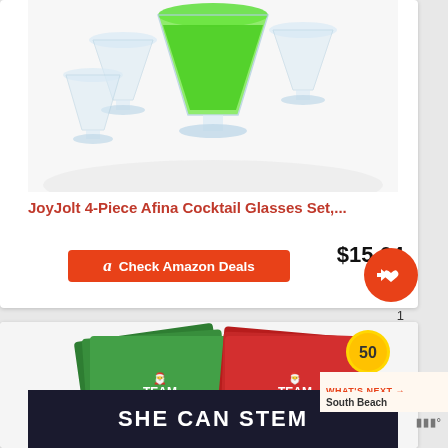[Figure (photo): JoyJolt cocktail glasses set photo — several martini/cocktail glasses arranged, one filled with green liquid, against a white background]
JoyJolt 4-Piece Afina Cocktail Glasses Set,...
$15.64
Check Amazon Deals
[Figure (photo): Christmas cocktail napkins — green napkins labeled 'TEAM Nice' and red napkins labeled 'TEAM Naughty', with a gold badge showing '50']
SHE CAN STEM
WHAT'S NEXT → South Beach
1